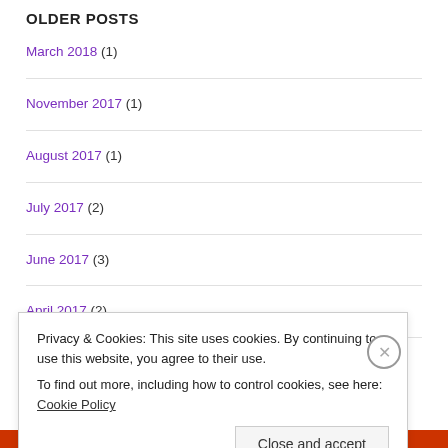OLDER POSTS
March 2018 (1)
November 2017 (1)
August 2017 (1)
July 2017 (2)
June 2017 (3)
April 2017 (2)
Privacy & Cookies: This site uses cookies. By continuing to use this website, you agree to their use. To find out more, including how to control cookies, see here: Cookie Policy
Close and accept